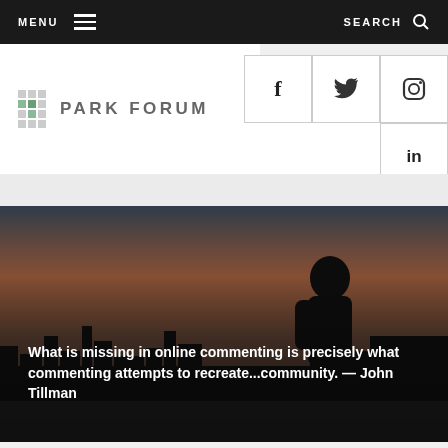MENU   SEARCH
[Figure (logo): Park Forum logo with grid icon and text PARK FORUM]
[Figure (infographic): Social media icons: Facebook (f), Twitter (bird), Instagram (camera), LinkedIn (in) in bordered grid cells]
[Figure (photo): Hero image showing a silhouette of a person against a dusk/sunset cityscape sky, with an overlaid quote text]
What is missing in online commenting is precisely what commenting attempts to recreate...community. — John Tillman